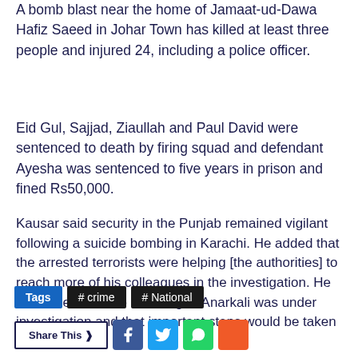A bomb blast near the home of Jamaat-ud-Dawa Hafiz Saeed in Johar Town has killed at least three people and injured 24, including a police officer.
Eid Gul, Sajjad, Ziaullah and Paul David were sentenced to death by firing squad and defendant Ayesha was sentenced to five years in prison and fined Rs50,000.
Kausar said security in the Punjab remained vigilant following a suicide bombing in Karachi. He added that the arrested terrorists were helping [the authorities] to reach more of his colleagues in the investigation. He concluded that the bombing of Anarkali was under investigation and that important steps would be taken soon.
Tags  # crime  # National
Share This